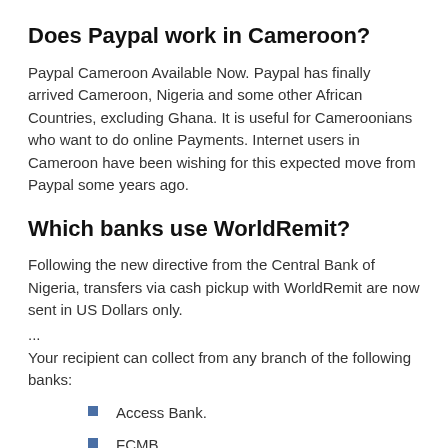Does Paypal work in Cameroon?
Paypal Cameroon Available Now. Paypal has finally arrived Cameroon, Nigeria and some other African Countries, excluding Ghana. It is useful for Cameroonians who want to do online Payments. Internet users in Cameroon have been wishing for this expected move from Paypal some years ago.
Which banks use WorldRemit?
Following the new directive from the Central Bank of Nigeria, transfers via cash pickup with WorldRemit are now sent in US Dollars only.
...
Your recipient can collect from any branch of the following banks:
Access Bank.
FCMB.
Fidelity Bank.